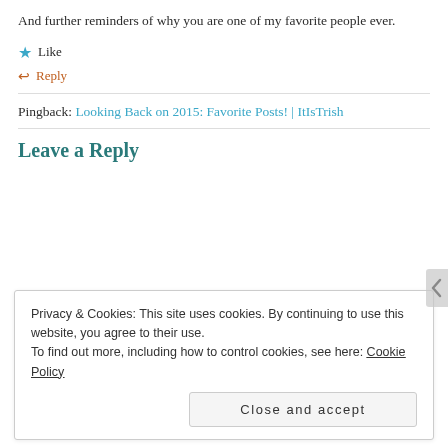And further reminders of why you are one of my favorite people ever.
★ Like
↩ Reply
Pingback: Looking Back on 2015: Favorite Posts! | ItIsTrish
Leave a Reply
Privacy & Cookies: This site uses cookies. By continuing to use this website, you agree to their use. To find out more, including how to control cookies, see here: Cookie Policy
Close and accept